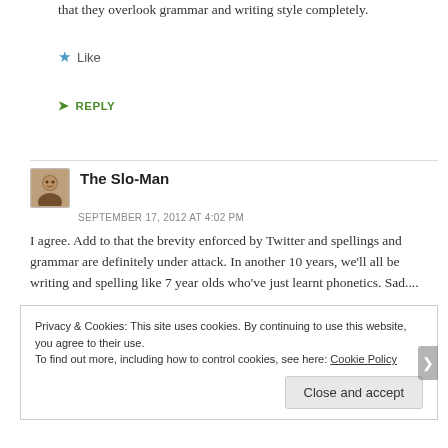that they overlook grammar and writing style completely.
Like
REPLY
The Slo-Man
SEPTEMBER 17, 2012 AT 4:02 PM
I agree. Add to that the brevity enforced by Twitter and spellings and grammar are definitely under attack. In another 10 years, we'll all be writing and spelling like 7 year olds who've just learnt phonetics. Sad....
Privacy & Cookies: This site uses cookies. By continuing to use this website, you agree to their use.
To find out more, including how to control cookies, see here: Cookie Policy
Close and accept